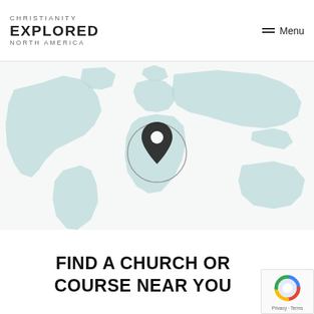CHRISTIANITY EXPLORED NORTH AMERICA
Menu
[Figure (map): World map background in light teal/mint color with a location pin marker in a circle centered on the map]
FIND A CHURCH OR COURSE NEAR YOU